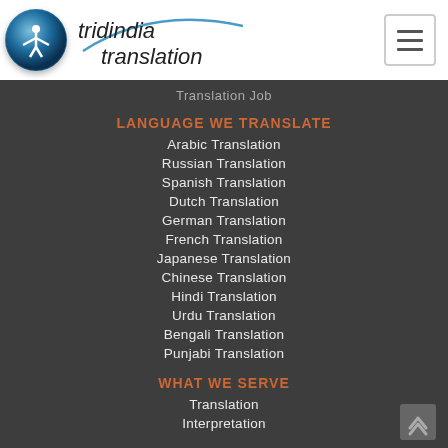[Figure (logo): Tridindia Translation logo with circular blue emblem and cursive text]
Translation Job
LANGUAGE WE TRANSLATE
Arabic Translation
Russian Translation
Spanish Translation
Dutch Translation
German Translation
French Translation
Japanese Translation
Chinese Translation
Hindi Translation
Urdu Translation
Bengali Translation
Punjabi Translation
WHAT WE SERVE
Translation
Interpretation